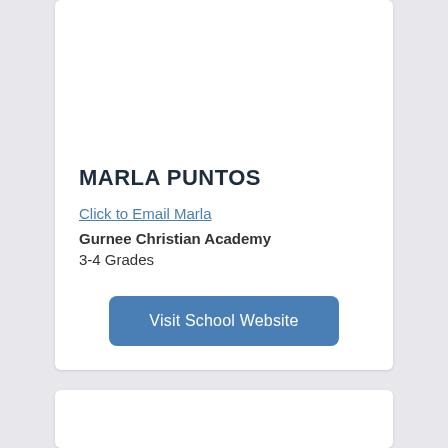MARLA PUNTOS
Click to Email Marla
Gurnee Christian Academy
3-4 Grades
Visit School Website